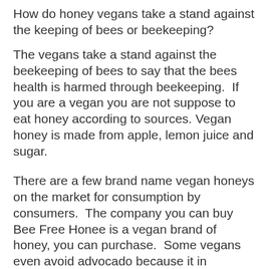How do honey vegans take a stand against the keeping of bees or beekeeping?
The vegans take a stand against the beekeeping of bees to say that the bees health is harmed through beekeeping.  If you are a vegan you are not suppose to eat honey according to sources.  Vegan honey is made from apple, lemon juice and sugar.
There are a few brand name vegan honeys on the market for consumption by consumers.  The company you can buy Bee Free Honee is a vegan brand of honey, you can purchase.  Some vegans even avoid advocado because it in someway includes exploitation of bees in production.  Peanut butter is free from animal product and consumed by vegan consumers.